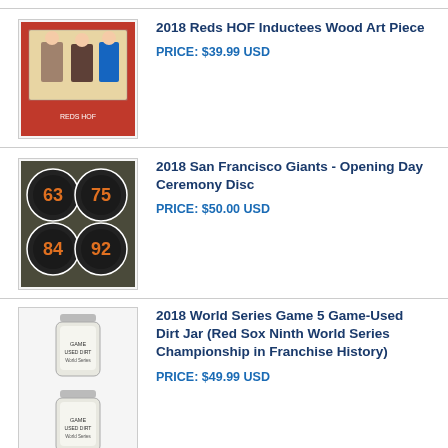[Figure (photo): Photo of 2018 Reds HOF Inductees Wood Art Piece]
2018 Reds HOF Inductees Wood Art Piece
PRICE: $39.99 USD
[Figure (photo): Photo of 2018 San Francisco Giants Opening Day Ceremony Disc showing four numbered discs]
2018 San Francisco Giants - Opening Day Ceremony Disc
PRICE: $50.00 USD
[Figure (photo): Photo of two small dirt jars from 2018 World Series Game 5]
2018 World Series Game 5 Game-Used Dirt Jar (Red Sox Ninth World Series Championship in Franchise History)
PRICE: $49.99 USD
2019 Game Used Rosin Bag used